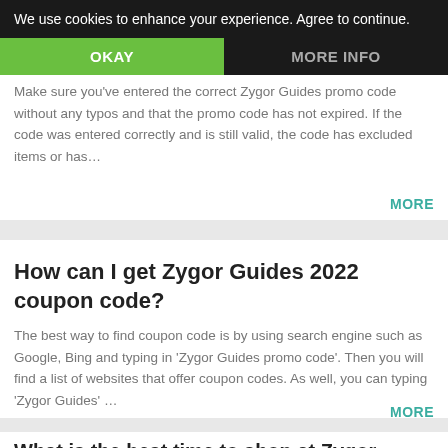We use cookies to enhance your experience. Agree to continue.
OKAY
MORE INFO
Why does my Zygor Guides promo code not Work?
Make sure you've entered the correct Zygor Guides promo code without any typos and that the promo code has not expired. If the code was entered correctly and is still valid, the code has excluded items or has…
MORE
How can I get Zygor Guides 2022 coupon code?
The best way to find coupon code is by using search engine such as Google, Bing and typing in 'Zygor Guides promo code'. Then you will find a list of websites that offer coupon codes. As well, you can typing 'Zygor Guides' …
MORE
What is the best time to shop at Zygor Guides?